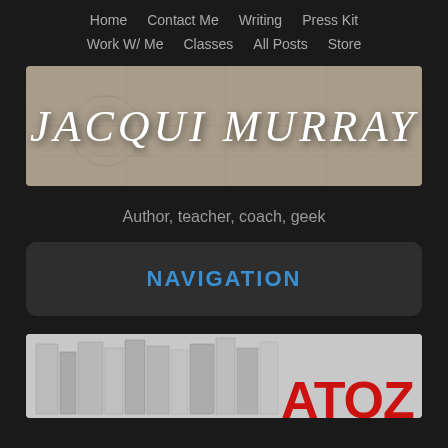Home   Contact Me   Writing   Press Kit
Work W/ Me   Classes   All Posts   Store
[Figure (illustration): Banner with hand-lettered script text 'JACQUI MURRAY' on a beige/tan background with faint world map lines]
Author, teacher, coach, geek
NAVIGATION
[Figure (illustration): Black and white image of books on a shelf with partial red text 'ATOZ' visible at bottom right]